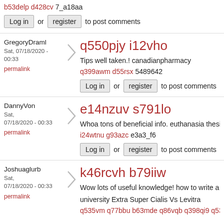b53delp d428cv 7_a18aa
Login or register to post comments
GregoryDraml
Sat, 07/18/2020 - 00:33
permalink
q550pjy i12vho
Tips well taken.! canadianpharmacy
q399awm d55rsx 5489642
Login or register to post comments
DannyVon
Sat, 07/18/2020 - 00:33
permalink
e14nzuv s791lo
Whoa tons of beneficial info. euthanasia thesis state
i24wtnu g93azc e3a3_f6
Login or register to post comments
Joshuaglurb
Sat, 07/18/2020 - 00:33
permalink
k46rcvh b79iiw
Wow lots of useful knowledge! how to write a proj
university Extra Super Cialis Vs Levitra
q535vm q77bbu b63mde q86vqb q398qi9 q53qi9...